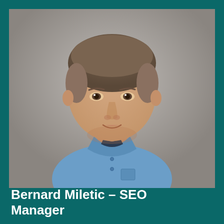[Figure (photo): Headshot of Bernard Miletic, a man with short brown hair wearing a blue button-down shirt, photographed against a gray background.]
Bernard Miletic – SEO Manager